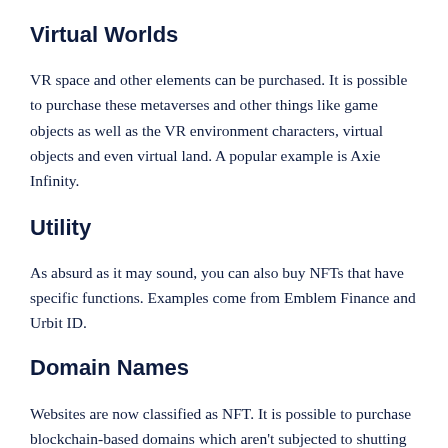Virtual Worlds
VR space and other elements can be purchased. It is possible to purchase these metaverses and other things like game objects as well as the VR environment characters, virtual objects and even virtual land. A popular example is Axie Infinity.
Utility
As absurd as it may sound, you can also buy NFTs that have specific functions. Examples come from Emblem Finance and Urbit ID.
Domain Names
Websites are now classified as NFT. It is possible to purchase blockchain-based domains which aren't subjected to shutting down from any person. These types are also censorship-